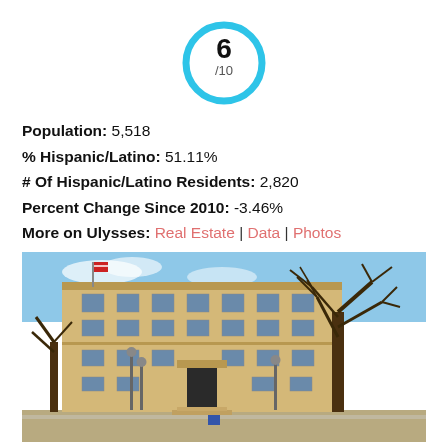[Figure (infographic): Score circle showing 6/10 in cyan outline circle]
Population: 5,518
% Hispanic/Latino: 51.11%
# Of Hispanic/Latino Residents: 2,820
Percent Change Since 2010: -3.46%
More on Ulysses: Real Estate | Data | Photos
[Figure (photo): Photo of a multi-story tan/brick government or civic building with bare winter trees in front, blue sky background, street lamps visible in foreground]